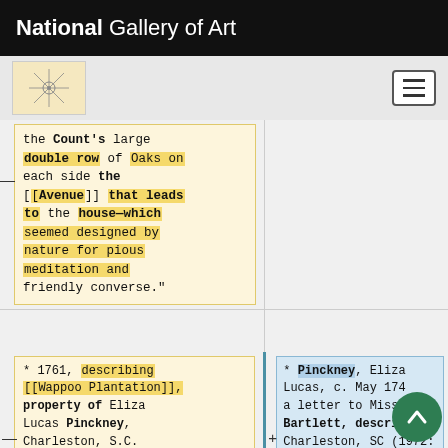National Gallery of Art
the Count's large double row of Oaks on each side the [[Avenue]] that leads to the house—which seemed designed by nature for pious meditation and friendly converse."
* 1761, describing [[Wappoo Plantation]], property of Eliza Lucas Pinckney, Charleston, S.C.
* Pinckney, Eliza Lucas, c. May 174[?], a letter to Miss Bartlett, describing Charleston, SC (1972: